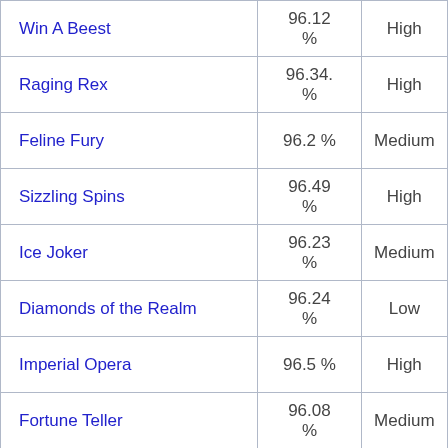| Win A Beest | 96.12 % | High |
| Raging Rex | 96.34. % | High |
| Feline Fury | 96.2 % | Medium |
| Sizzling Spins | 96.49 % | High |
| Ice Joker | 96.23 % | Medium |
| Diamonds of the Realm | 96.24 % | Low |
| Imperial Opera | 96.5 % | High |
| Fortune Teller | 96.08 % | Medium |